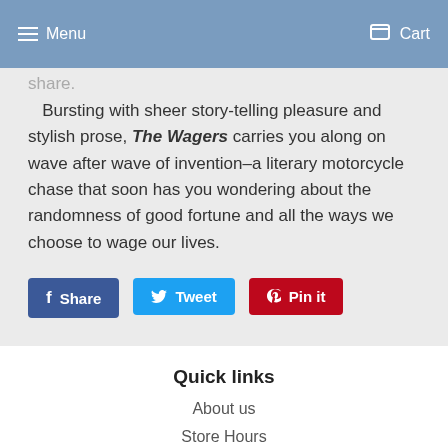Menu  Cart
share.
Bursting with sheer story-telling pleasure and stylish prose, The Wagers carries you along on wave after wave of invention–a literary motorcycle chase that soon has you wondering about the randomness of good fortune and all the ways we choose to wage our lives.
Share
Tweet
Pin it
Quick links
About us
Store Hours
Refund policy
Contact us